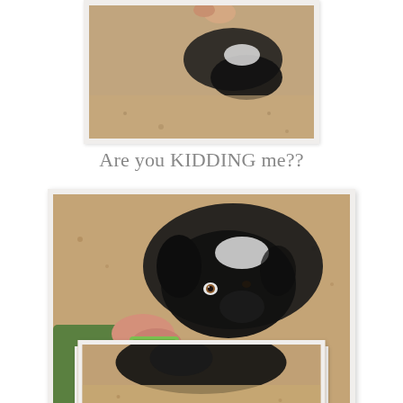[Figure (photo): Partial photo of a black and white dog on sandy/cork floor, top portion of image visible, dog's paw and lower body, same dog as in middle photo]
Are you KIDDING me??
[Figure (photo): Black and white border collie dog looking up at a hand offering a green piece of food (cucumber or similar), dog lying on sandy/cork textured floor]
[Figure (photo): Partial photo of the same black and white dog, showing top of head/back, bottom portion cut off]